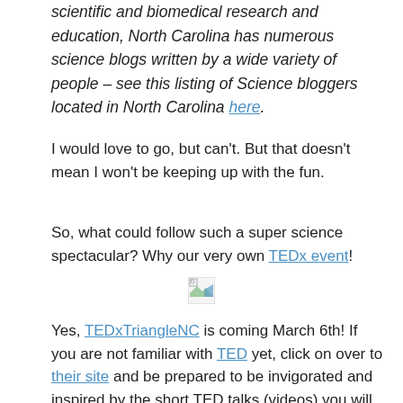scientific and biomedical research and education, North Carolina has numerous science blogs written by a wide variety of people – see this listing of Science bloggers located in North Carolina here.
I would love to go, but can't. But that doesn't mean I won't be keeping up with the fun.
So, what could follow such a super science spectacular? Why our very own TEDx event!
[Figure (other): Broken/missing image placeholder icon]
Yes, TEDxTriangleNC is coming March 6th! If you are not familiar with TED yet, click on over to their site and be prepared to be invigorated and inspired by the short TED talks (videos) you will find there. Riveting. Then mark your calendar for March 6th and plan to attend (in person or